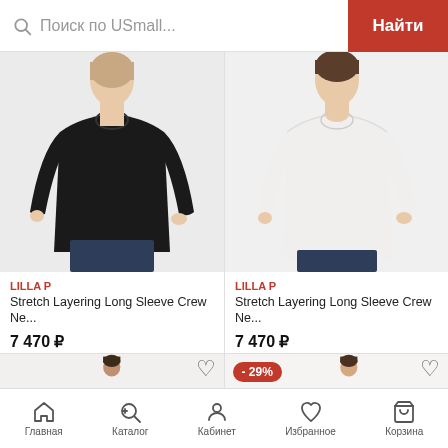Поиск по USmall...  Найти
[Figure (photo): Woman wearing black long sleeve crew neck sweater (LILLA P)]
LILLA P
Stretch Layering Long Sleeve Crew Ne...
7 470 ₽
[Figure (photo): Woman wearing white long sleeve crew neck sweater (LILLA P)]
LILLA P
Stretch Layering Long Sleeve Crew Ne...
7 470 ₽
[Figure (photo): Partial product card showing woman, heart icon]
[Figure (photo): Partial product card showing woman with -29% discount badge and heart icon]
Главная  Каталог  Кабинет  Избранное  Корзина